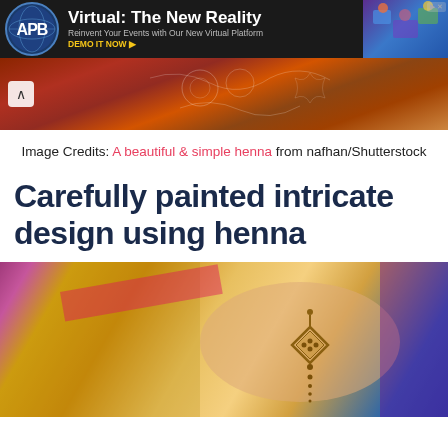[Figure (photo): APB advertisement banner - Virtual: The New Reality, Reinvent Your Events with Our New Virtual Platform. Demo it now.]
[Figure (photo): Close-up photograph of a hand with intricate red and white henna design on skin]
Image Credits: A beautiful & simple henna from nafhan/Shutterstock
Carefully painted intricate design using henna
[Figure (photo): Photo of a wrist/ankle with gold geometric henna design, surrounded by colorful golden and pink fabric]